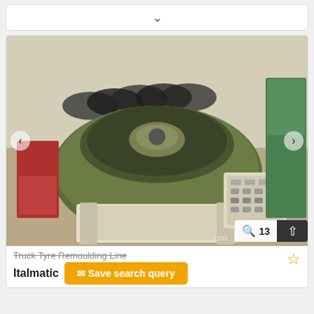[Figure (other): Top card with a chevron/dropdown arrow, partially visible.]
[Figure (photo): Industrial truck tyre remoulding machine (olive green, circular drum shape with control panel) in a workshop with tyres stacked in the background. Shows navigation arrows on left and right, a zoom badge showing '13', and a scroll-to-top button.]
Truck Tyre Remoulding Line
Italmatic
Save search query